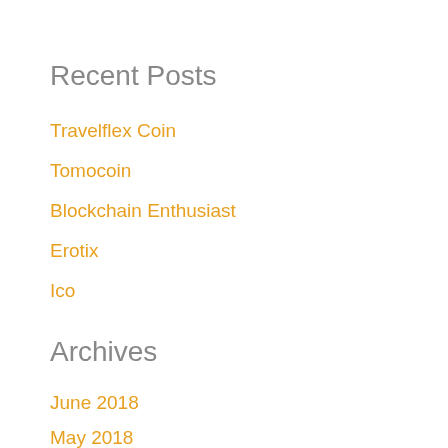Recent Posts
Travelflex Coin
Tomocoin
Blockchain Enthusiast
Erotix
Ico
Archives
June 2018
May 2018
April 2018
March 2018